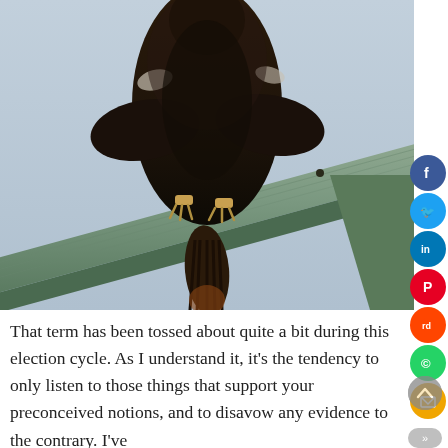[Figure (photo): A large bird of prey (eagle or hawk) perched on a weathered wooden beam or cross-bar, viewed from below. The bird has dark brown feathers with some white markings visible at the top. Light blue-grey sky in the background. The beam appears old with a greenish tint.]
That term has been tossed about quite a bit during this election cycle. As I understand it, it's the tendency to only listen to those things that support your preconceived notions, and to disavow any evidence to the contrary. I've